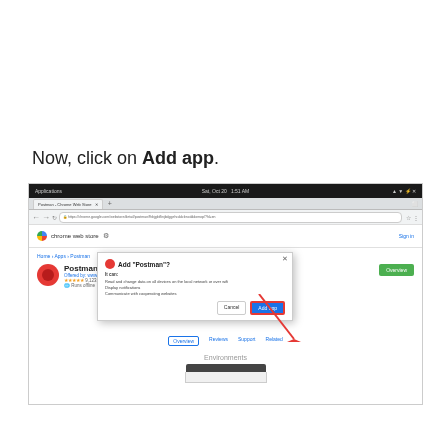Now, click on Add app.
[Figure (screenshot): Screenshot of Chrome Web Store page showing Postman app listing with an 'Add Postman?' modal dialog popup. The modal has Cancel and Add app buttons, with a red arrow pointing to the Add app button. Below the listing are navigation tabs: Overview, Reviews, Support, Related. At the bottom is an 'Environments' section with a small application window screenshot.]